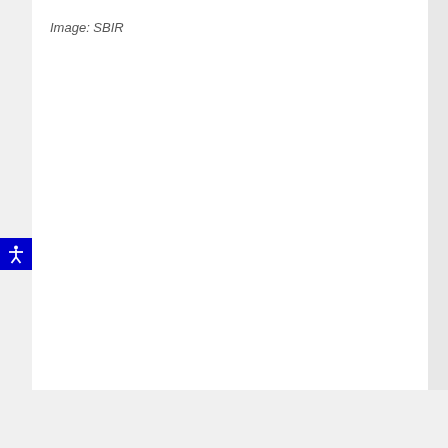Image: SBIR
[Figure (other): Accessibility icon button - blue square with white human figure with arms outstretched (universal accessibility symbol)]